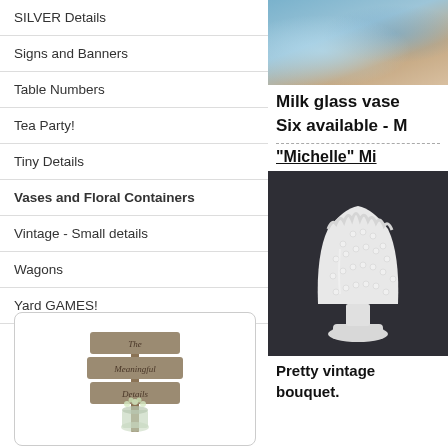SILVER Details
Signs and Banners
Table Numbers
Tea Party!
Tiny Details
Vases and Floral Containers
Vintage - Small details
Wagons
Yard GAMES!
[Figure (logo): The Meaningful Details sign post logo with mason jar and flowers]
[Figure (photo): Milk glass vase photo - top portion]
Milk glass vase
Six available - M
"Michelle" Mi
[Figure (photo): White hobnail milk glass vase on dark background]
Pretty vintage bouquet.